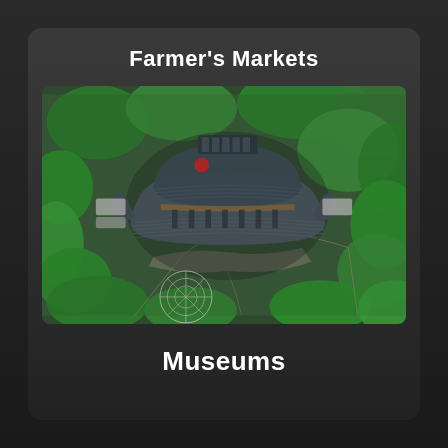Farmer's Markets
[Figure (photo): Aerial drone photograph of a museum building with curved corrugated metal roofs surrounded by dense green trees and winding pathways. The architecture features multiple arching roof sections and circular design elements visible from above.]
Museums